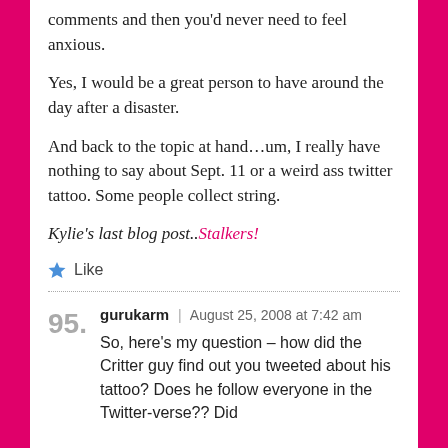comments and then you'd never need to feel anxious.
Yes, I would be a great person to have around the day after a disaster.
And back to the topic at hand…um, I really have nothing to say about Sept. 11 or a weird ass twitter tattoo. Some people collect string.
Kylie's last blog post..Stalkers!
Like
95. gurukarm | August 25, 2008 at 7:42 am
So, here's my question – how did the Critter guy find out you tweeted about his tattoo? Does he follow everyone in the Twitter-verse?? Did